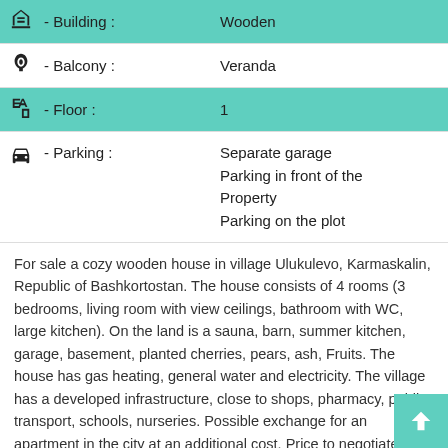| Feature | Value |
| --- | --- |
| Building | Wooden |
| Balcony | Veranda |
| Floor | 1 |
| Parking | Separate garage
Parking in front of the Property
Parking on the plot |
For sale a cozy wooden house in village Ulukulevo, Karmaskalin, Republic of Bashkortostan. The house consists of 4 rooms (3 bedrooms, living room with view ceilings, bathroom with WC, large kitchen). On the land is a sauna, barn, summer kitchen, garage, basement, planted cherries, pears, ash, Fruits. The house has gas heating, general water and electricity. The village has a developed infrastructure, close to shops, pharmacy, public transport, schools, nurseries. Possible exchange for an apartment in the city at an additional cost. Price to negotiate!
Detaily